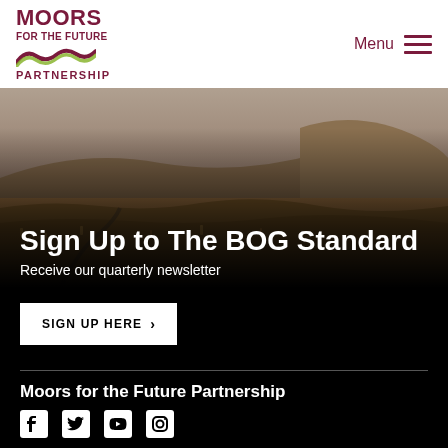[Figure (logo): Moors for the Future Partnership logo with dark red text and wave graphic]
[Figure (photo): Moorland landscape with brown grasses, a stream, and a hillside under overcast sky]
Sign Up to The BOG Standard
Receive our quarterly newsletter
SIGN UP HERE >
Moors for the Future Partnership
[Figure (infographic): Social media icons: Facebook, Twitter, YouTube, Instagram]